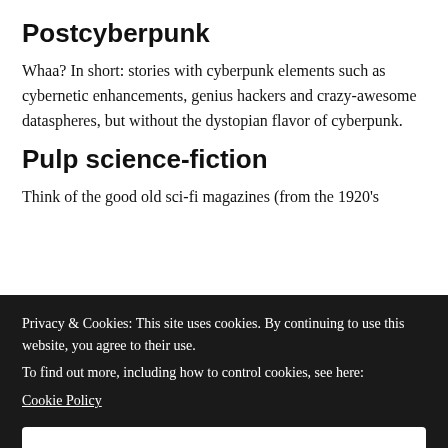Postcyberpunk
Whaa? In short: stories with cyberpunk elements such as cybernetic enhancements, genius hackers and crazy-awesome dataspheres, but without the dystopian flavor of cyberpunk.
Pulp science-fiction
Think of the good old sci-fi magazines (from the 1920’s
Privacy & Cookies: This site uses cookies. By continuing to use this website, you agree to their use.
To find out more, including how to control cookies, see here:
Cookie Policy
Close and accept
sarcastic undertone, usually parodies. Sometimes